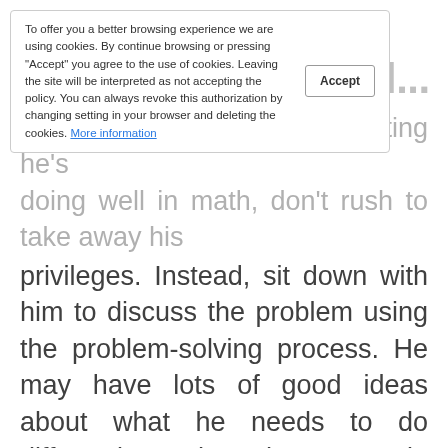[Figure (screenshot): Cookie consent banner overlay on a webpage showing parenting/education content]
privileges. Instead, sit down with him to discuss the problem using the problem-solving process. He may have lots of good ideas about what he needs to do differently or how he can gain extra help to improve his grade. Try to work together on reaching a mutually agreed upon solution. Provide plenty of praise when your child is able to find a solution to a problem. Discuss progress and re-visit the issue periodically to see if any